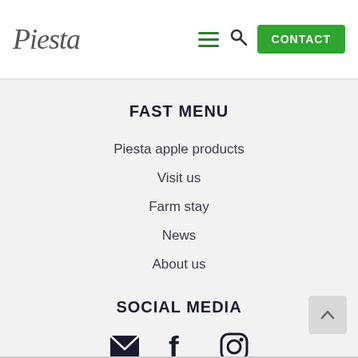Piesta | CONTACT
FAST MENU
Piesta apple products
Visit us
Farm stay
News
About us
SOCIAL MEDIA
[Figure (infographic): Social media icons: email envelope, Facebook f, Instagram camera]